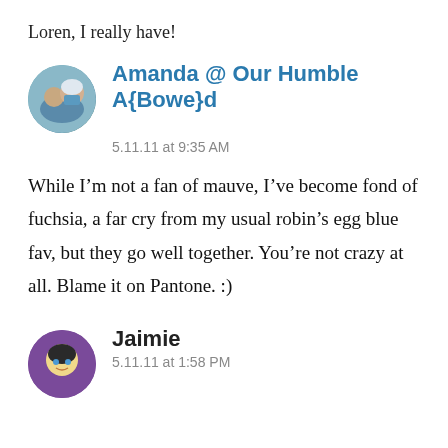Loren, I really have!
Amanda @ Our Humble A{Bowe}d
5.11.11 at 9:35 AM
While I’m not a fan of mauve, I’ve become fond of fuchsia, a far cry from my usual robin’s egg blue fav, but they go well together. You’re not crazy at all. Blame it on Pantone. :)
Jaimie
5.11.11 at 1:58 PM